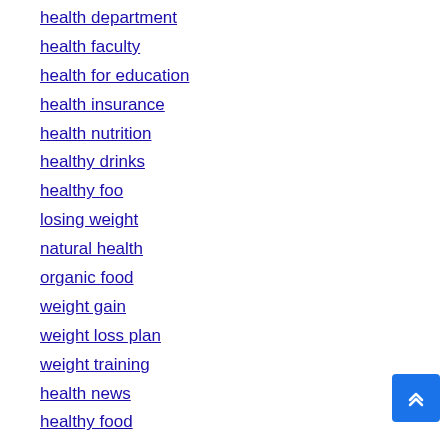health department
health faculty
health for education
health insurance
health nutrition
healthy drinks
healthy foo
losing weight
natural health
organic food
weight gain
weight loss plan
weight training
health news
healthy food